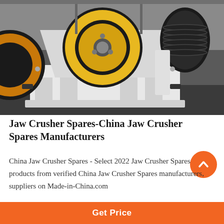[Figure (photo): Industrial jaw crusher machine with large yellow flywheel and black pulley/belt system, white metal frame, photographed in a factory/warehouse setting]
Jaw Crusher Spares-China Jaw Crusher Spares Manufacturers
China Jaw Crusher Spares - Select 2022 Jaw Crusher Spares products from verified China Jaw Crusher Spares manufacturers, suppliers on Made-in-China.com
Get Price